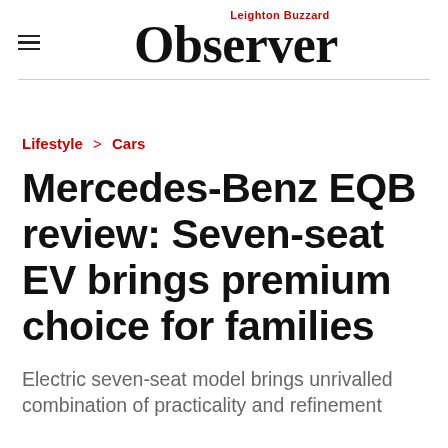Leighton Buzzard Observer
Lifestyle > Cars
Mercedes-Benz EQB review: Seven-seat EV brings premium choice for families
Electric seven-seat model brings unrivalled combination of practicality and refinement